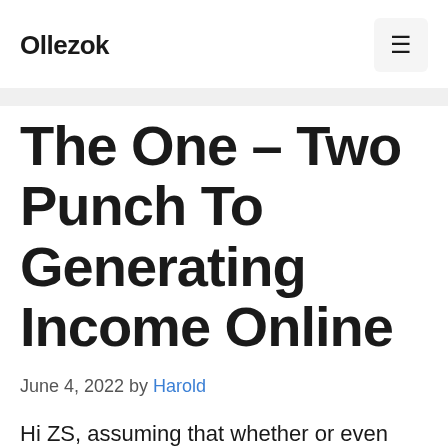Ollezok
The One – Two Punch To Generating Income Online
June 4, 2022 by Harold
Hi ZS, assuming that whether or even